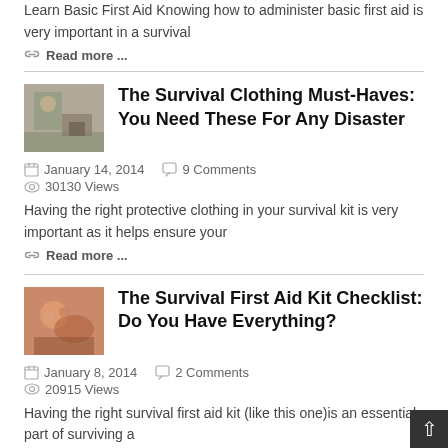Learn Basic First Aid Knowing how to administer basic first aid is very important in a survival
Read more ...
[Figure (photo): Thumbnail image of person with survival gear/clothing outdoors]
The Survival Clothing Must-Haves: You Need These For Any Disaster
January 14, 2014   9 Comments
30130 Views
Having the right protective clothing in your survival kit is very important as it helps ensure your
Read more ...
[Figure (photo): Thumbnail image of hands holding survival items]
The Survival First Aid Kit Checklist: Do You Have Everything?
January 8, 2014   2 Comments
20915 Views
Having the right survival first aid kit (like this one)is an essential part of surviving a
Read more ...